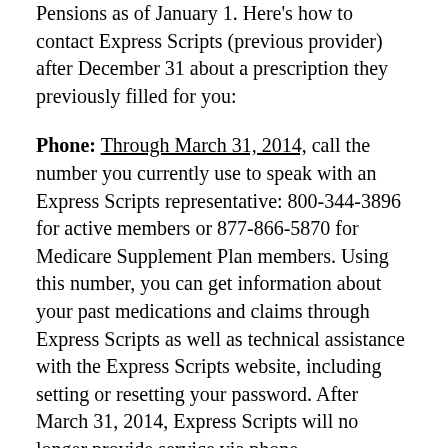Pensions as of January 1. Here's how to contact Express Scripts (previous provider) after December 31 about a prescription they previously filled for you:
Phone: Through March 31, 2014, call the number you currently use to speak with an Express Scripts representative: 800-344-3896 for active members or 877-866-5870 for Medicare Supplement Plan members. Using this number, you can get information about your past medications and claims through Express Scripts as well as technical assistance with the Express Scripts website, including setting or resetting your password. After March 31, 2014, Express Scripts will no longer provide service via phone representatives.
Website:  Through December 31, 2015, log in directly to express-scripts.com to access your medication history. (Benefits Connect will no longer be able to